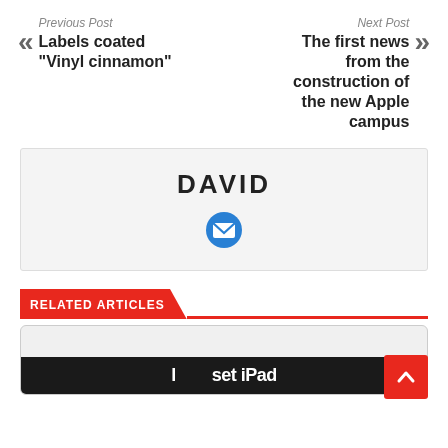« Previous Post
Labels coated "Vinyl cinnamon"
Next Post »
The first news from the construction of the new Apple campus
DAVID
[Figure (illustration): Blue circular email/envelope icon]
RELATED ARTICLES
[Figure (photo): Partial image showing what appears to be an iPad label or accessory with text partially visible]